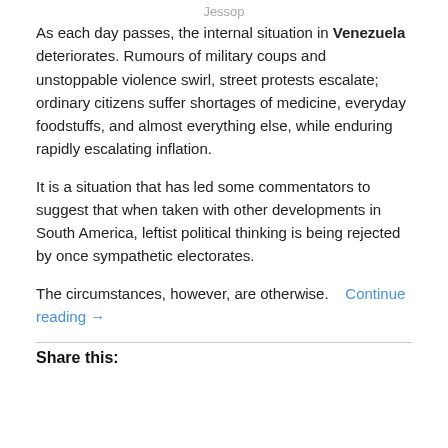Jessop
As each day passes, the internal situation in Venezuela deteriorates. Rumours of military coups and unstoppable violence swirl, street protests escalate; ordinary citizens suffer shortages of medicine, everyday foodstuffs, and almost everything else, while enduring rapidly escalating inflation.
It is a situation that has led some commentators to suggest that when taken with other developments in South America, leftist political thinking is being rejected by once sympathetic electorates.
The circumstances, however, are otherwise.    Continue reading →
Share this: